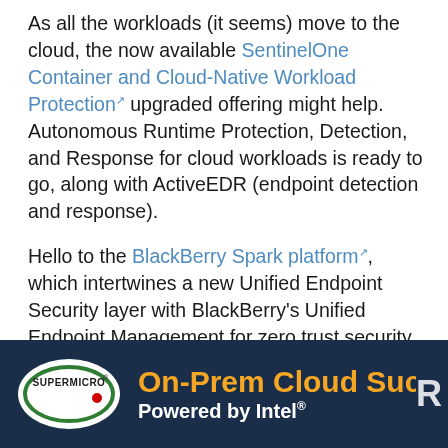As all the workloads (it seems) move to the cloud, the now available SentinelOne Container and Cloud-Native Workload Protection upgraded offering might help. Autonomous Runtime Protection, Detection, and Response for cloud workloads is ready to go, along with ActiveEDR (endpoint detection and response).
Hello to the BlackBerry Spark platform, which intertwines a new Unified Endpoint Security layer with BlackBerry's Unified Endpoint Management for zero trust security across desktop, mobile, server, and IoT endpoints, including automotive devices.
[Figure (illustration): Supermicro advertisement banner: dark navy background with Supermicro logo (white oval with green outline and red dot) on left, and orange bold text 'On-Prem Cloud Succes' and white bold text 'Powered by Intel' with registered trademark symbol on right. Partial letter 'R' visible at far right.]